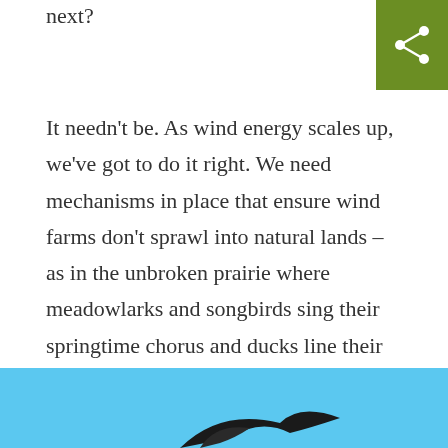next?
[Figure (other): Green share button with white share icon in top-right corner]
It needn't be. As wind energy scales up, we've got to do it right. We need mechanisms in place that ensure wind farms don't sprawl into natural lands – as in the unbroken prairie where meadowlarks and songbirds sing their springtime chorus and ducks line their nests with downy feathers. Instead, why not concentrate new wind farms in places that are already developed? Farm fields and former oil and gas installations, say, rather than native grasslands. This both saves habitat and lessens the risk of bird strikes.
[Figure (photo): Partial photo showing a bird wing silhouette against a blue sky background]